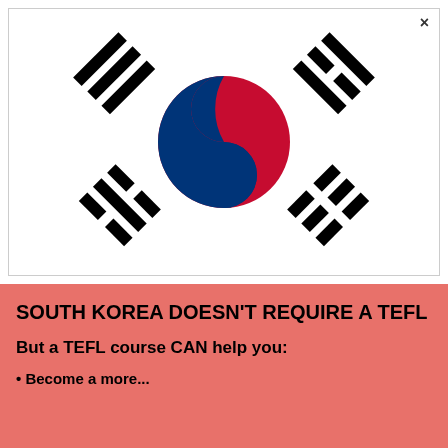[Figure (illustration): South Korea national flag (Taegukgi) showing the red and blue taeguk symbol in the center with four black trigrams in the corners, on a white background. A close/X button is visible in the top right corner.]
SOUTH KOREA DOESN'T REQUIRE A TEFL
But a TEFL course CAN help you:
Become a more...